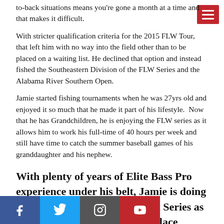to-back situations means you're gone a month at a time and that makes it difficult.
With stricter qualification criteria for the 2015 FLW Tour, that left him with no way into the field other than to be placed on a waiting list. He declined that option and instead fished the Southeastern Division of the FLW Series and the Alabama River Southern Open.
Jamie started fishing tournaments when he was 27yrs old and enjoyed it so much that he made it part of his lifestyle.  Now that he has Grandchildren, he is enjoying the FLW series as it allows him to work his full-time of 40 hours per week and still have time to catch the summer baseball games of his granddaughter and his nephew.
With plenty of years of Elite Bass Pro experience under his belt, Jamie is doing well in the 2016 FLW Walmart Series as he is currently sitting in 11th place ... rnament will be on his home territory of Pickwick Lake and there are a total of six